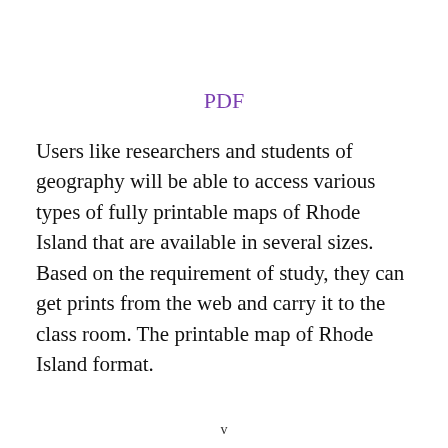PDF
Users like researchers and students of geography will be able to access various types of fully printable maps of Rhode Island that are available in several sizes. Based on the requirement of study, they can get prints from the web and carry it to the class room. The printable map of Rhode Island format.
v